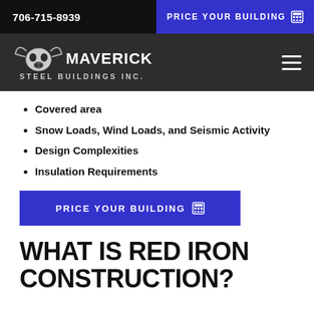706-715-8939
PRICE YOUR BUILDING
[Figure (logo): Maverick Steel Buildings Inc. logo with bull skull graphic in white/grey on dark background]
Covered area
Snow Loads, Wind Loads, and Seismic Activity
Design Complexities
Insulation Requirements
PRICE YOUR BUILDING
WHAT IS RED IRON CONSTRUCTION?